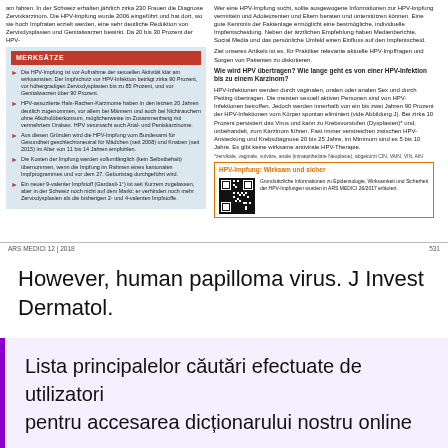am fahren. In der Schweiz erhalten jährlich zirka 230 Frauen die Diagnose Zervixkarzinom. Die HPV-Impfung wurde 2006 eingeführt und hat dort, wo sie hoch Impfraten erzielt werden, eine sehr deutliche Reduktion von Zervixdysplasien und Genitalwarzen bewirkt. Da 20 bis 30 Prozent der HPV-
MERKSÄTZE
Die HPV-Impfung ist vor Aufnahme der sexuellen Aktivität klar am wirksamsten: Der Impfschutz vor HPV-Infektion beträgt zirka 90 Prozent, vor höhergradigen Zervixdysplasien bis zu 85 Prozent, und vor Genitalwarzen über 90 Prozent.
HPV-assoziierte Hals-Rachen-Karzinome haben in den letzten 20 Jahren deutlich zugenommen, vor allem bei Männern und auch bei Nichtrauchern ohne Alkoholüberkonsum, möglicherweise im Zusammenhang mit vermehrtem Oralsex. HPV verursacht auch Anal- und Peniskarzinome.
Aus diesen Gründen wird die HPV-Impfung vom Bundesamt für Gesundheit geschlechtsneutral für Mädchen (seit 2008) und Knaben (seit 2015) im Alter von 11 bis 14 Jahren empfohlen.
Die Kosten der Impfung werden vollumfänglich (kein Selbstbehalt) übernommen, wenn die Impfung im Rahmen eines kantonalen Impfprogrammes und vor dem 27. Geburtstag durchgeführt wird.
Ein neuer 9-valenter Impfstoff (Gardasil-1°) ist seit Kurzem zugelassen, aber in der Schweiz noch nicht auf dem Markt; er verhindert noch mehr Zervixdysplasien als die bisherigen 2- und 4-valenten Impfstoffe.
Wer eine HPV-Impfung sucht, sollte ausgewogene Informationen zur HPV-Impfung vermitteln und Adoleszenten und Eltern beraten und unterstützen können. Eine gute Kenntnis der Faktenlage ermöglicht eine bestmögliche, individuelle Impfentscheidung. Neben der ärztlichen Empfehlung haben Medienberichte, Social Media und das persönliche Umfeld einen Einfluss auf den Impfentscheid.
Ziel unseres Artikels ist es, für Praktiker relevante aktuelle HPV-Impffragen und Sorgen von Patienten zu diskutieren.
Wie wird HPV übertragen? Wie lange geht es von einer HPV-Infektion bis zu einem Karzinom?
HPV-Infektionen werden durch vaginalen, oralen oder analen Sex und durch Petting übertragen. Die meisten sexuell aktiven Personen sind von HPV-Infektionen betroffen. Jedoch werden innerhalb von ein bis zwei Jahren 90 Prozent der HPV-Infektionen vom Körper spontan eliminiert (vide Abbildung J). Bei zirka 10 Prozent persistiert das Virus und kann zu Krebsvorstufen (Dysplasien)* und, unbehandelt, zum Karzinom führen. Fast immer verstreichen zwischen HPV-Ansteckung und Krebsdiagnose 20 bis 25 Jahre, im Minimum sind es 5 bis 10 Jahre. Es gibt keine wirksame antivirale HPV-Therapie.
*zervikale, vaginale, vulväre, anale (intraepitheliare Neoplasie), abgekürzt CIN, VAIN, VIN, AIN
HPV-Impfung: Wirksam und sicher
Grundsätzliche Informationen zu Epidemiologie, Wirksamkeit und Sicherheit der HPV-Impfungen wurden in ARS MEDICI 26/2017 erläutert.
ARS MEDICI 12 | 2018
531
However, human papilloma virus. J Invest Dermatol.
Lista principalelor căutări efectuate de utilizatori pentru accesarea dicționarului nostru online